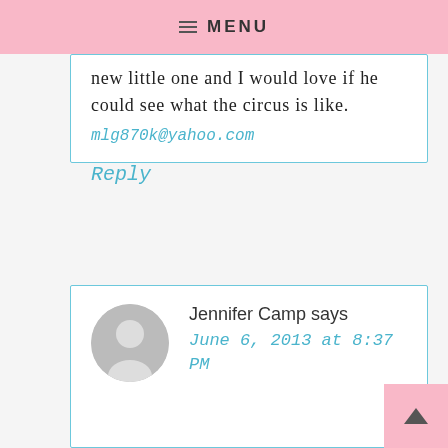MENU
new little one and I would love if he could see what the circus is like.
mlg870k@yahoo.com
Reply
Jennifer Camp says
June 6, 2013 at 8:37 PM